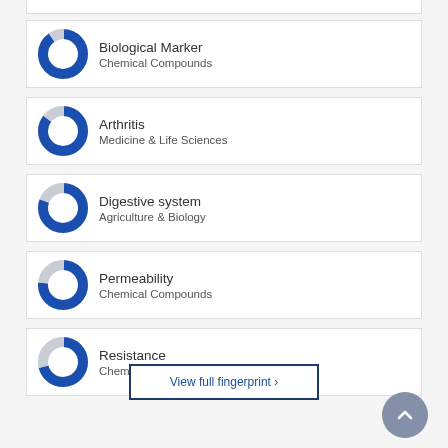Biological Marker — Chemical Compounds
Arthritis — Medicine & Life Sciences
Digestive system — Agriculture & Biology
Permeability — Chemical Compounds
Resistance — Chemical Compounds
View full fingerprint ›